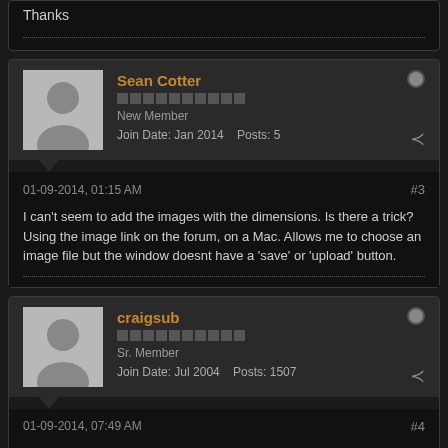Thanks
Sean Cotter
New Member
Join Date: Jan 2014   Posts: 5
01-09-2014, 01:15 AM   #3
I can't seem to add the images with the dimensions. Is there a trick? Using the image link on the forum, on a Mac. Allows me to choose an image file but the window doesnt have a 'save' or 'upload' button.
craigsub
Sr. Member
Join Date: Jul 2004   Posts: 1507
01-09-2014, 07:49 AM   #4
Sean - What will you be using for a receiver? Have you already